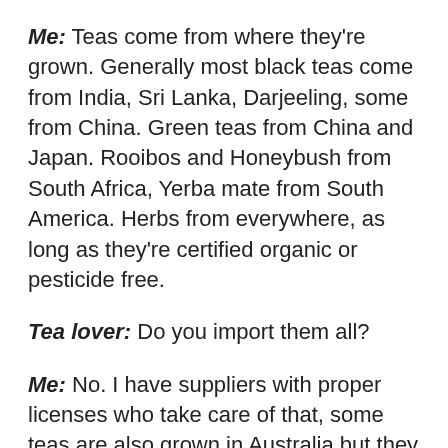Me: Teas come from where they're grown. Generally most black teas come from India, Sri Lanka, Darjeeling, some from China. Green teas from China and Japan. Rooibos and Honeybush from South Africa, Yerba mate from South America. Herbs from everywhere, as long as they're certified organic or pesticide free.
Tea lover: Do you import them all?
Me: No. I have suppliers with proper licenses who take care of that, some teas are also grown in Australia but they need to be regulated. I don't and can't retail teas and herbs from my backyard, or my friends' backyards, because they need to be approved for public food consumption. The only teas here that I deal direct with the farmers are the local